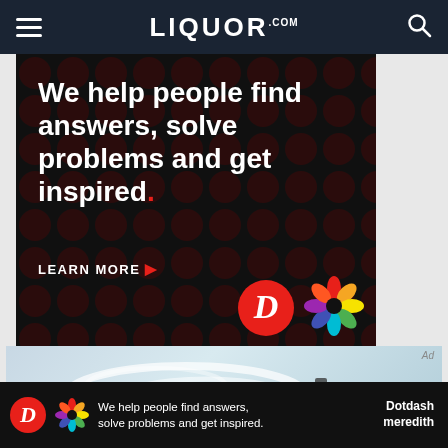LIQUOR.COM
[Figure (advertisement): Black background ad with dark red dot pattern. Text: 'We help people find answers, solve problems and get inspired.' with LEARN MORE button, D logo circle in red, and Dotdash Meredith flower logo.]
[Figure (photo): Light blue/white abstract photo showing glowing swirling shapes with two dark bottle silhouettes visible at bottom right.]
[Figure (advertisement): Bottom sticky ad bar: 'We help people find answers, solve problems and get inspired.' with D logo and Dotdash Meredith text on black background.]